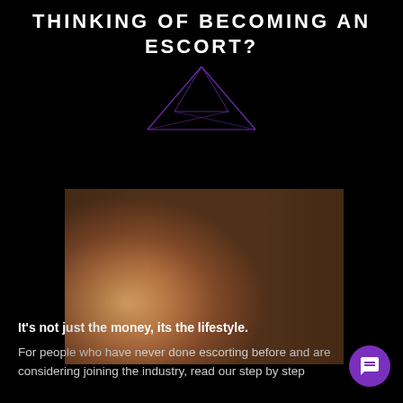THINKING OF BECOMING AN ESCORT?
[Figure (illustration): Purple geometric line art / star polygon decorative graphic on black background]
[Figure (photo): Photograph of a blonde woman in white lingerie lying down, smiling at camera]
It's not just the money, its the lifestyle.
For people who have never done escorting before and are considering joining the industry, read our step by step